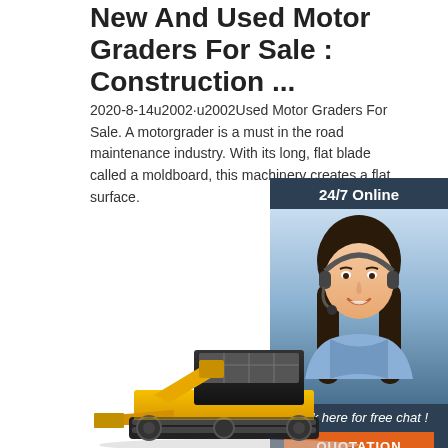New And Used Motor Graders For Sale : Construction ...
2020-8-14u2002·u2002Used Motor Graders For Sale. A motorgrader is a must in the road maintenance industry. With its long, flat blade called a moldboard, this machinery creates a flat surface.
[Figure (illustration): 24/7 online chat widget with a smiling woman wearing a headset, dark blue background, with 'Click here for free chat!' and a QUOTATION orange button]
Get Price
[Figure (photo): Yellow and black construction motor grader / bulldozer machinery, partially visible at bottom of page]